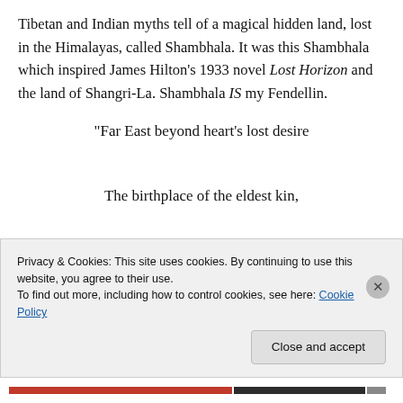Tibetan and Indian myths tell of a magical hidden land, lost in the Himalayas, called Shambhala. It was this Shambhala which inspired James Hilton's 1933 novel Lost Horizon and the land of Shangri-La. Shambhala IS my Fendellin.
“Far East beyond heart’s lost desire

The birthplace of the eldest kin,

Through rising sun on wings of fire
...ions from the Fendellin"
Privacy & Cookies: This site uses cookies. By continuing to use this website, you agree to their use.
To find out more, including how to control cookies, see here: Cookie Policy